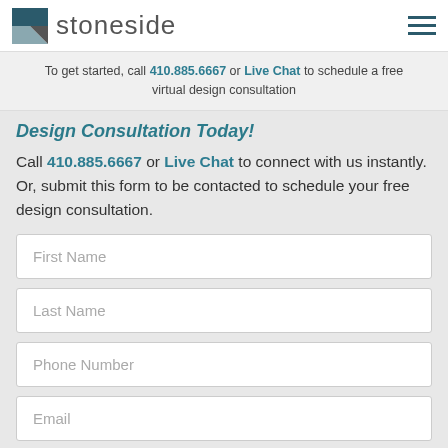stoneside
To get started, call 410.885.6667 or Live Chat to schedule a free virtual design consultation
Design Consultation Today!
Call 410.885.6667 or Live Chat to connect with us instantly. Or, submit this form to be contacted to schedule your free design consultation.
First Name
Last Name
Phone Number
Email
Notes